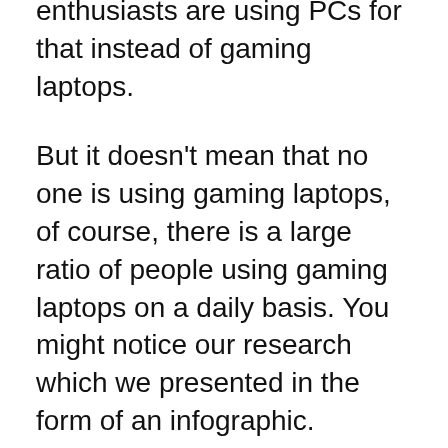enthusiasts are using PCs for that instead of gaming laptops.
But it doesn't mean that no one is using gaming laptops, of course, there is a large ratio of people using gaming laptops on a daily basis. You might notice our research which we presented in the form of an infographic.
But the problem is that most of the gaming laptops come pricey and finding the affordable ones isn't easy. I am not talking about just a laptop, but about a high quality best laptop at a good price. This is the reason I compiled a list of best budget gaming laptops for you instead of the most expensive ones.